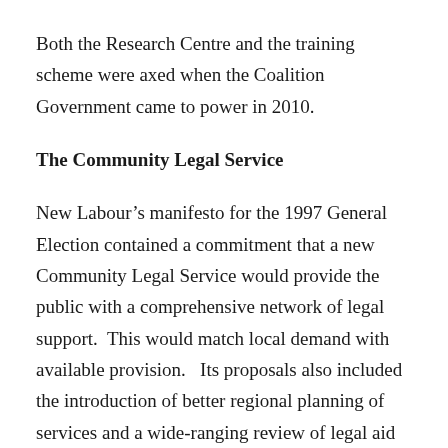Both the Research Centre and the training scheme were axed when the Coalition Government came to power in 2010.
The Community Legal Service
New Labour's manifesto for the 1997 General Election contained a commitment that a new Community Legal Service would provide the public with a comprehensive network of legal support.  This would match local demand with available provision.   Its proposals also included the introduction of better regional planning of services and a wide-ranging review of legal aid provision.  Lord Irvine, who was Lord Chancellor